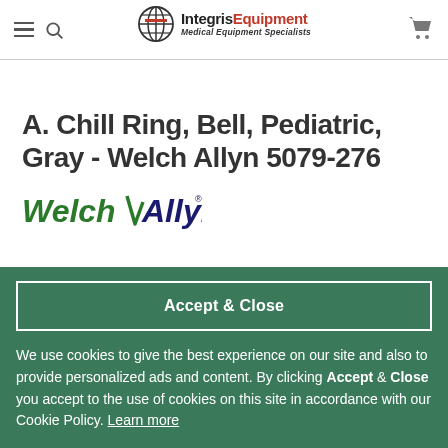Integris Equipment - Medical Equipment Specialists
A. Chill Ring, Bell, Pediatric, Gray - Welch Allyn 5079-276
[Figure (logo): Welch Allyn logo in green and dark blue]
Accept & Close
We use cookies to give the best experience on our site and also to provide personalized ads and content. By clicking Accept & Close you accept to the use of cookies on this site in accordance with our Cookie Policy. Learn more